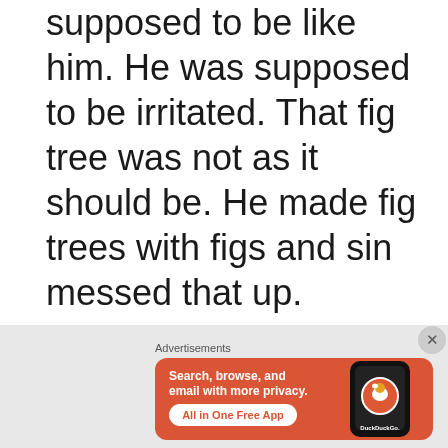supposed to be like him. He was supposed to be irritated. That fig tree was not as it should be. He made fig trees with figs and sin messed that up.
Sin should make us impatient for heaven. We should hunger and thirst and be able to concentrate on
[Figure (other): DuckDuckGo advertisement banner with orange background. Text reads 'Search, browse, and email with more privacy. All in One Free App' with a phone image showing DuckDuckGo logo.]